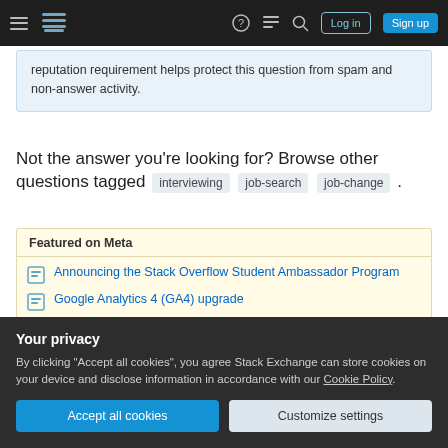Stack Exchange navigation bar with hamburger menu, logo, help, chat, search icons, Log in and Sign up buttons
reputation requirement helps protect this question from spam and non-answer activity.
Not the answer you're looking for? Browse other questions tagged interviewing job-search job-change .
Featured on Meta
Announcing the Stack Overflow Student Ambassador Program
Google Analytics 4 (GA4) upgrade
Your privacy
By clicking "Accept all cookies", you agree Stack Exchange can store cookies on your device and disclose information in accordance with our Cookie Policy.